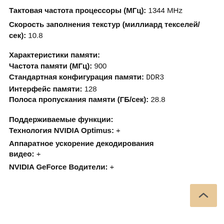Тактовая частота процессоры (МГц): 1344 MHz
Скорость заполнения текстур (миллиард текселей/сек): 10.8
Характеристики памяти:
Частота памяти (МГц): 900
Стандартная конфигурация памяти: DDR3
Интерфейс памяти: 128
Полоса пропускания памяти (ГБ/сек): 28.8
Поддерживаемые функции:
Технология NVIDIA Optimus: +
Аппаратное ускорение декодирования видео: +
NVIDIA GeForce Водители: +